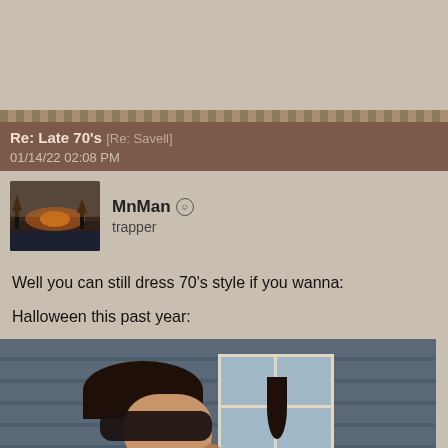[Figure (photo): Top banner area with beige/tan background]
Re: Late 70's [Re: Savell]
01/14/22 02:08 PM
MnMan
trapper
Well you can still dress 70's style if you wanna:

Halloween this past year:
[Figure (photo): Person dressed in 70s Halloween costume wearing dark wig, large sunglasses, mustache, and brown leather jacket with wide collar, standing outside in front of siding wall with window visible in background]